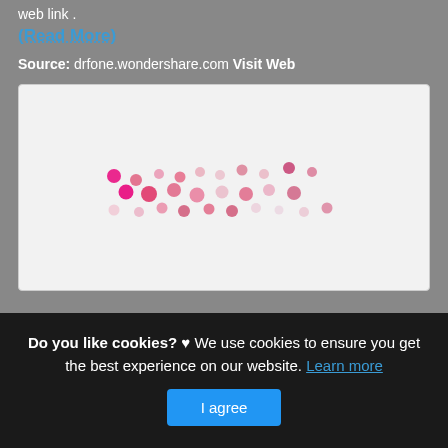web link .
(Read More)
Source: drfone.wondershare.com Visit Web
[Figure (other): Loading spinner animation made of pink/salmon colored dots arranged in a scattered pattern in the center of a light gray box]
Do you like cookies? ♥ We use cookies to ensure you get the best experience on our website. Learn more
I agree